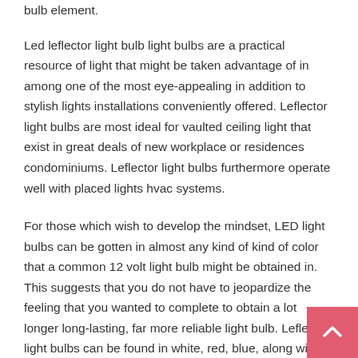bulb element.
Led leflector light bulb light bulbs are a practical resource of light that might be taken advantage of in among one of the most eye-appealing in addition to stylish lights installations conveniently offered. Leflector light bulbs are most ideal for vaulted ceiling light that exist in great deals of new workplace or residences condominiums. Leflector light bulbs furthermore operate well with placed lights hvac systems.
For those which wish to develop the mindset, LED light bulbs can be gotten in almost any kind of kind of color that a common 12 volt light bulb might be obtained in. This suggests that you do not have to jeopardize the feeling that you wanted to complete to obtain a lot longer long-lasting, far more reliable light bulb. Leflector light bulbs can be found in white, red, blue, along with environmentally friendly along with might be found for